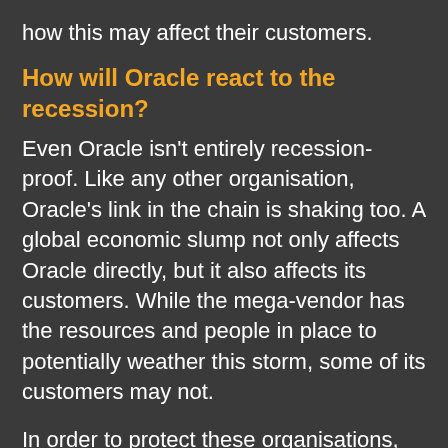how this may affect their customers.
How will Oracle react to the recession?
Even Oracle isn't entirely recession-proof. Like any other organisation, Oracle's link in the chain is shaking too. A global economic slump not only affects Oracle directly, but it also affects its customers. While the mega-vendor has the resources and people in place to potentially weather this storm, some of its customers may not.
In order to protect these organisations, then, how will Oracle proceed? One option could be to follow the example of many other providers and offer customers discounts or payment breaks. It is, after all, in Oracle's best interests to support its customer base.
However, Oracle has already earned its reputation for